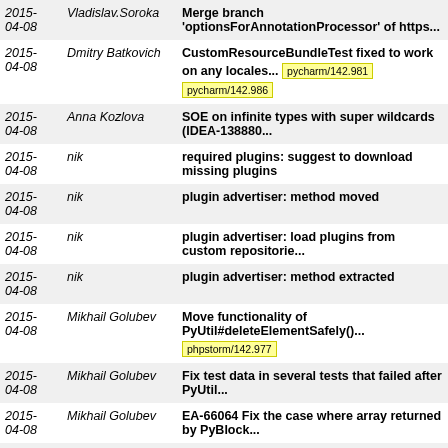| Date | Author | Message |
| --- | --- | --- |
| 2015-04-08 | Vladislav.Soroka | Merge branch 'optionsForAnnotationProcessor' of https... |
| 2015-04-08 | Dmitry Batkovich | CustomResourceBundleTest fixed to work on any locales... pycharm/142.981 pycharm/142.986 |
| 2015-04-08 | Anna Kozlova | SOE on infinite types with super wildcards (IDEA-138880... |
| 2015-04-08 | nik | required plugins: suggest to download missing plugins |
| 2015-04-08 | nik | plugin advertiser: method moved |
| 2015-04-08 | nik | plugin advertiser: load plugins from custom repositorie... |
| 2015-04-08 | nik | plugin advertiser: method extracted |
| 2015-04-08 | Mikhail Golubev | Move functionality of PyUtil#deleteElementSafely()... phpstorm/142.977 |
| 2015-04-08 | Mikhail Golubev | Fix test data in several tests that failed after PyUtil... |
| 2015-04-08 | Mikhail Golubev | EA-66064 Fix the case where array returned by PyBlock... |
| 2015-04-08 | Denis Zhdanov | Support LightVirtualFile.assignedFileType property... |
| 2015-04-08 | Anna Kozlova | change return type fix: ensure... |